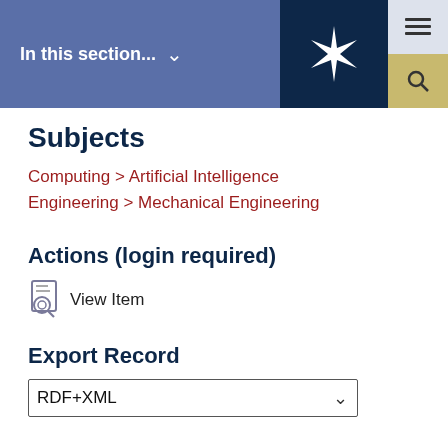In this section...
Subjects
Computing > Artificial Intelligence
Engineering > Mechanical Engineering
Actions (login required)
View Item
Export Record
RDF+XML